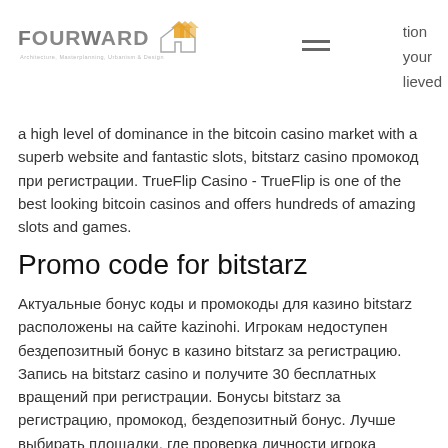FourWard [logo] | hamburger menu | tion your lieved
a high level of dominance in the bitcoin casino market with a superb website and fantastic slots, bitstarz casino промокод при регистрации. TrueFlip Casino - TrueFlip is one of the best looking bitcoin casinos and offers hundreds of amazing slots and games.
Promo code for bitstarz
Актуальные бонус коды и промокоды для казино bitstarz расположены на сайте kazinohi. Игрокам недоступен бездепозитный бонус в казино bitstarz за регистрацию. Запись на bitstarz casino и получите 30 бесплатных вращений при регистрации. Бонусы bitstarz за регистрацию, промокод, бездепозитный бонус. Лучше выбирать площадки, где проверка личности игрока доступна сразу